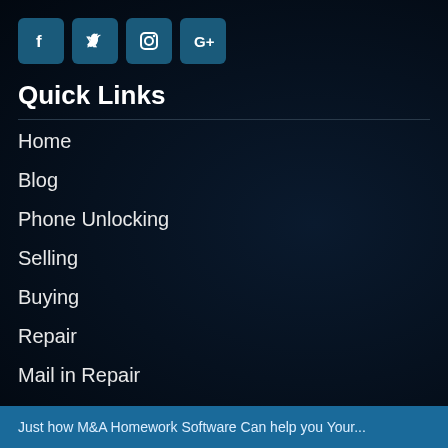[Figure (infographic): Four social media icon buttons: Facebook (f), Twitter (bird), Instagram (camera), Google+ (G+) — teal/dark blue square buttons]
Quick Links
Home
Blog
Phone Unlocking
Selling
Buying
Repair
Mail in Repair
Contact
Latest Post
Just how M&A Homework Software Can help you Your...